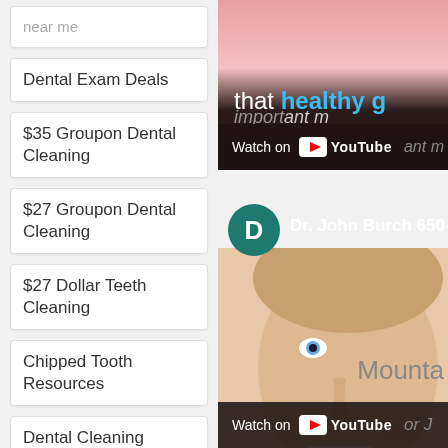near me
Dental Exam Deals
$35 Groupon Dental Cleaning
$27 Groupon Dental Cleaning
$27 Dollar Teeth Cleaning
Chipped Tooth Resources
Dental Cleaning Resources
Dental Home
[Figure (screenshot): YouTube video thumbnail showing text 'that healthy g...' with blue highlighted word and 'Watch on YouTube' bar]
[Figure (screenshot): YouTube video thumbnail with D avatar icon, Dr. John Burch 650- text, smiling woman face, 'Mounta' text partially visible, and 'Watch on YouTube' bar at bottom with 'Doctor J' text]